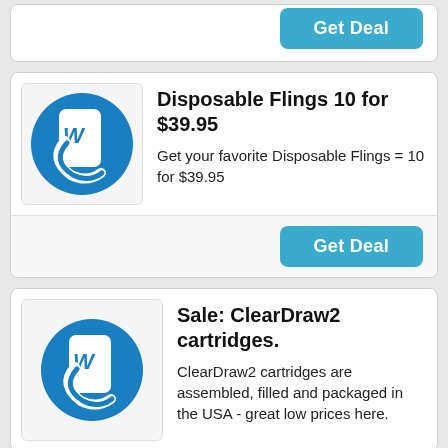[Figure (logo): Partial card with Get Deal button at top of page]
Disposable Flings 10 for $39.95
Get your favorite Disposable Flings = 10 for $39.95
[Figure (logo): Blue circular logo with stylized W and C letters]
Sale: ClearDraw2 cartridges.
ClearDraw2 cartridges are assembled, filled and packaged in the USA - great low prices here.
[Figure (logo): Blue circular logo with stylized W and C letters]